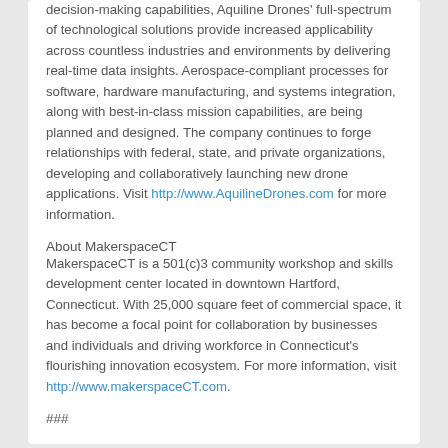decision-making capabilities, Aquiline Drones' full-spectrum of technological solutions provide increased applicability across countless industries and environments by delivering real-time data insights. Aerospace-compliant processes for software, hardware manufacturing, and systems integration, along with best-in-class mission capabilities, are being planned and designed. The company continues to forge relationships with federal, state, and private organizations, developing and collaboratively launching new drone applications. Visit http://www.AquilineDrones.com for more information.
About MakerspaceCT
MakerspaceCT is a 501(c)3 community workshop and skills development center located in downtown Hartford, Connecticut. With 25,000 square feet of commercial space, it has become a focal point for collaboration by businesses and individuals and driving workforce in Connecticut's flourishing innovation ecosystem. For more information, visit http://www.makerspaceCT.com.
###
[Figure (photo): Photograph of a building exterior, partially visible at bottom of page]